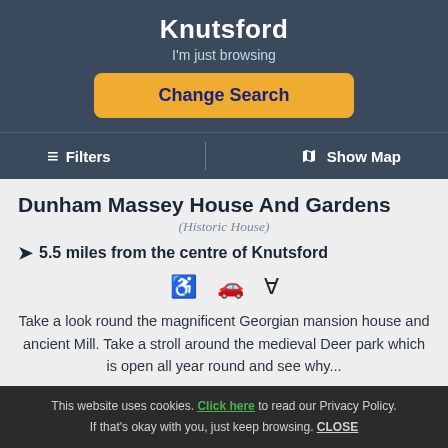Knutsford
I'm just browsing
Change Search
≡ Filters   | 🗺 Show Map
Dunham Massey House And Gardens
(Historic House)
5.5 miles from the centre of Knutsford
Take a look round the magnificent Georgian mansion house and ancient Mill. Take a stroll around the medieval Deer park which is open all year round and see why...
This website uses cookies. Click here to read our Privacy Policy. If that's okay with you, just keep browsing. CLOSE